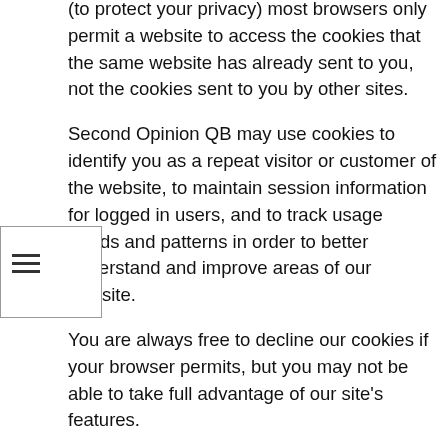(to protect your privacy) most browsers only permit a website to access the cookies that the same website has already sent to you, not the cookies sent to you by other sites.
Second Opinion QB may use cookies to identify you as a repeat visitor or customer of the website, to maintain session information for logged in users, and to track usage trends and patterns in order to better understand and improve areas of our website.
You are always free to decline our cookies if your browser permits, but you may not be able to take full advantage of our site's features.
All computers and servers on the internet use IP addresses to recognize and communicate with each other. We collect IP addresses to administer and analyze our site and report aggregate, non-personal